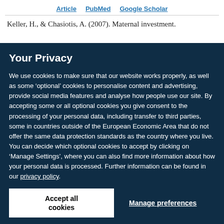Article  PubMed  Google Scholar
Keller, H., & Chasiotis, A. (2007). Maternal investment.
Your Privacy
We use cookies to make sure that our website works properly, as well as some ‘optional’ cookies to personalise content and advertising, provide social media features and analyse how people use our site. By accepting some or all optional cookies you give consent to the processing of your personal data, including transfer to third parties, some in countries outside of the European Economic Area that do not offer the same data protection standards as the country where you live. You can decide which optional cookies to accept by clicking on ‘Manage Settings’, where you can also find more information about how your personal data is processed. Further information can be found in our privacy policy.
Accept all cookies
Manage preferences